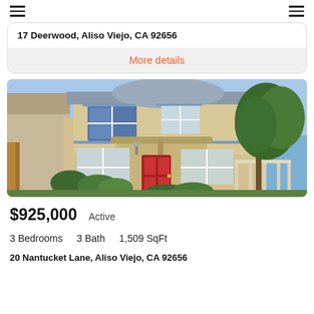navigation header with hamburger menus
17 Deerwood, Aliso Viejo, CA 92656
More details
[Figure (photo): Front exterior of a two-story residential home with beige/yellow siding, blue-trimmed windows, red front door, covered porch, green shrubs and trees]
$925,000   Active
3 Bedrooms   3 Bath   1,509 SqFt
20 Nantucket Lane, Aliso Viejo, CA 92656